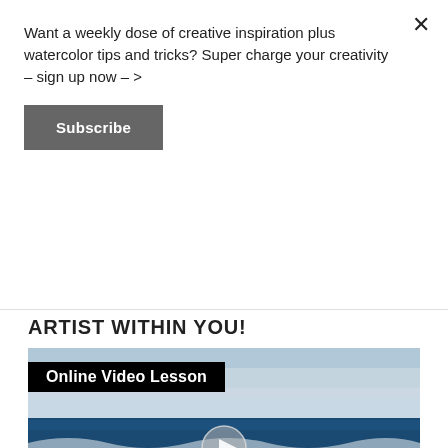Want a weekly dose of creative inspiration plus watercolor tips and tricks? Super charge your creativity – sign up now – >
Subscribe
ARTIST WITHIN YOU!
[Figure (screenshot): Online Video Lesson thumbnail showing a watercolor seascape painting with ocean waves, a play button overlay, and text reading 'WATERCOLOR PAINTING LESSON SEASCAPE PAINTING' by Eileen McKenna]